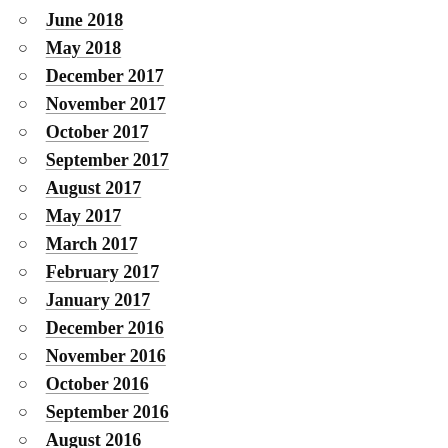June 2018
May 2018
December 2017
November 2017
October 2017
September 2017
August 2017
May 2017
March 2017
February 2017
January 2017
December 2016
November 2016
October 2016
September 2016
August 2016